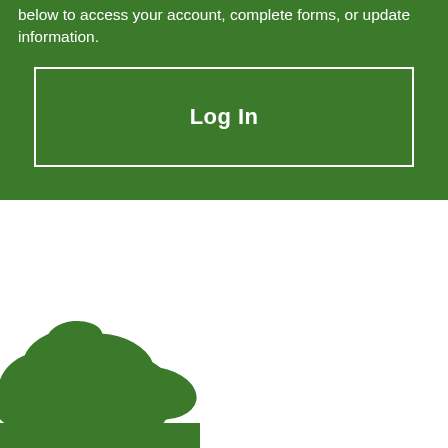below to access your account, complete forms, or update information.
[Figure (screenshot): Log In button box with white border on green background]
[Figure (illustration): Green leaf/plant silhouette decoration at bottom left corner]